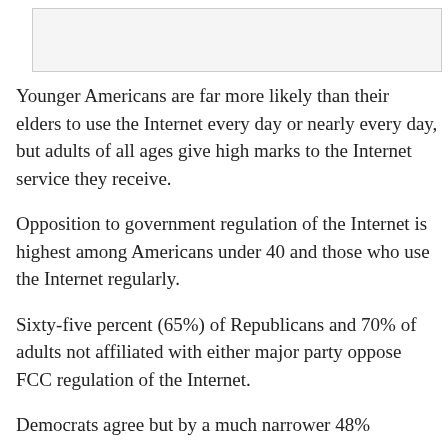[Figure (other): Gray rectangular image area at top of page]
Younger Americans are far more likely than their elders to use the Internet every day or nearly every day, but adults of all ages give high marks to the Internet service they receive.
Opposition to government regulation of the Internet is highest among Americans under 40 and those who use the Internet regularly.
Sixty-five percent (65%) of Republicans and 70% of adults not affiliated with either major party oppose FCC regulation of the Internet.
Democrats agree but by a much narrower 48%